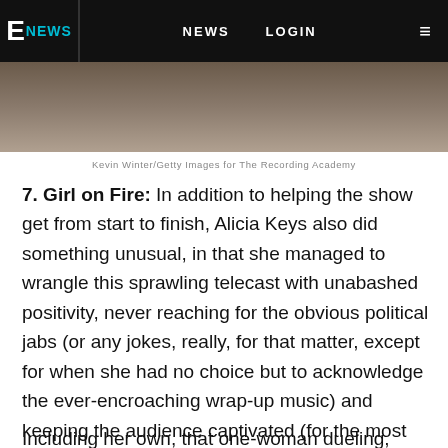E NEWS   NEWS   LOGIN
[Figure (photo): Partial photo of a person, cropped, appears to be at an event]
Kevin Winter/Getty Images for The Recording Academy
7. Girl on Fire: In addition to helping the show get from start to finish, Alicia Keys also did something unusual, in that she managed to wrangle this sprawling telecast with unabashed positivity, never reaching for the obvious political jabs (or any jokes, really, for that matter, except for when she had no choice but to acknowledge the ever-encroaching wrap-up music) and keeping the audience captivated (for the most part—it's still a really long show) by music alone.
Including her own, that one-woman dueling, piano